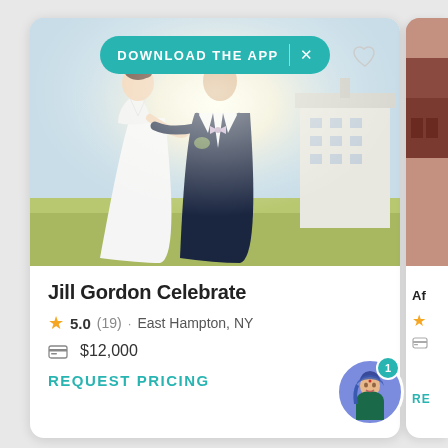[Figure (screenshot): Mobile app screenshot showing a wedding vendor listing card for 'Jill Gordon Celebrate' with a couple kissing photo, rating, price, and a 'Download the App' banner. A partial second card is visible on the right edge.]
DOWNLOAD THE APP
Jill Gordon Celebrate
5.0 (19) · East Hampton, NY
$12,000
REQUEST PRICING